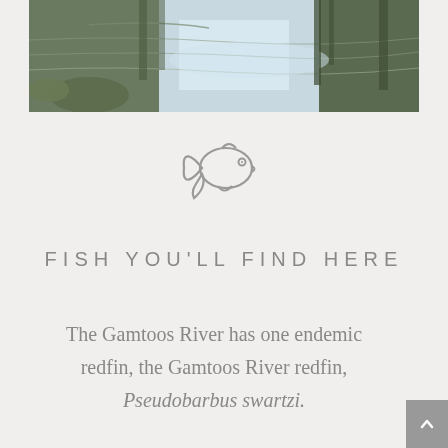[Figure (photo): Photograph of a river surface showing water reflections of trees, blue sky, and surrounding vegetation.]
[Figure (illustration): Simple line drawing icon of a fish in gray/silver color.]
FISH YOU'LL FIND HERE
The Gamtoos River has one endemic redfin, the Gamtoos River redfin, Pseudobarbus swartzi.